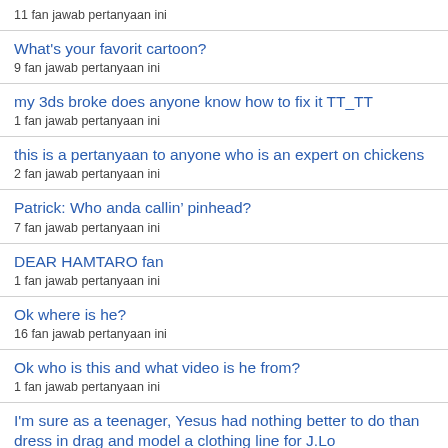11 fan jawab pertanyaan ini
What's your favorit cartoon?
9 fan jawab pertanyaan ini
my 3ds broke does anyone know how to fix it TT_TT
1 fan jawab pertanyaan ini
this is a pertanyaan to anyone who is an expert on chickens
2 fan jawab pertanyaan ini
Patrick: Who anda callin’ pinhead?
7 fan jawab pertanyaan ini
DEAR HAMTARO fan
1 fan jawab pertanyaan ini
Ok where is he?
16 fan jawab pertanyaan ini
Ok who is this and what video is he from?
1 fan jawab pertanyaan ini
I'm sure as a teenager, Yesus had nothing better to do than dress in drag and model a clothing line for J.Lo
3 fan jawab pertanyaan ini
who do u think will be the celebritys...